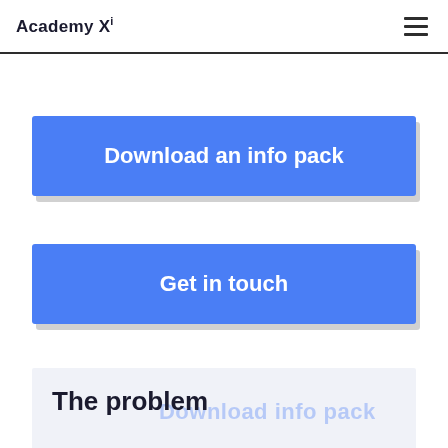Academy Xi
Download an info pack
Get in touch
The problem